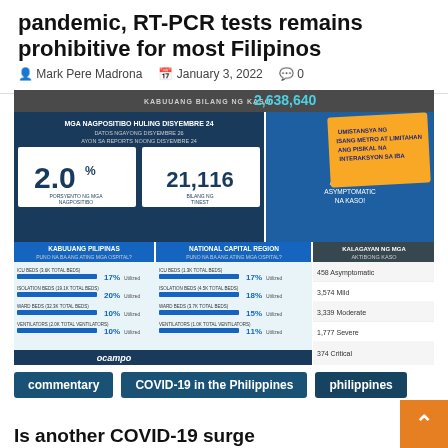pandemic, RT-PCR tests remains prohibitive for most Filipinos
Mark Pere Madrona   January 3, 2022   0
[Figure (infographic): Philippine COVID-19 dashboard showing: KABUUANG BILANG NG KASO 2,638,640; MGA NAGPOSITIBO HULING DISYEMBRE 24 - DATOS NGAYONG DISYEMBRE 26, AYON SA REPORTS NOONG DISYEMBRE 24; 2.0% PORSYENTO NG MGA NAGPOSITIBO; 21,116 BILANG NG TINEST; HALOS 42.3% ANG MILD AT ASYMPTOMATIC NA KASO!; KABUUANG PILIPINAS PUNO NA BA ANG ATING MGA OSPITAL?; ICU BEDS (3.6K TOTAL BEDS) 17% Utilized; ISOLATION BEDS (19.1K TOTAL BEDS) 20% Utilized; WARD BEDS (32.3K TOTAL BEDS) 10% Utilized; VENTILATORS (2.0K TOTAL VENTILATORS) 10% Utilized; NATIONAL CAPITAL REGION PUNO NA BA ANG ATING MGA OSPITAL?; ICU BEDS (1.3K TOTAL BEDS) 17% Utilized; ISOLATION BEDS (4.5K TOTAL BEDS) 18% Utilized; WARD BEDS (3.7K TOTAL BEDS) 15% Utilized; VENTILATORS (1.0K TOTAL VENTILATORS) 11% Utilized; KALAGAYAN NG MGA AKTIBONG KASO: 458 Asymptomatic, 3,574 Mild, 3,339 Moderate, 1,777 Severe, 374 Critical]
commentary
COVID-19 in the Philippines
philippines
Is another COVID-19 surge